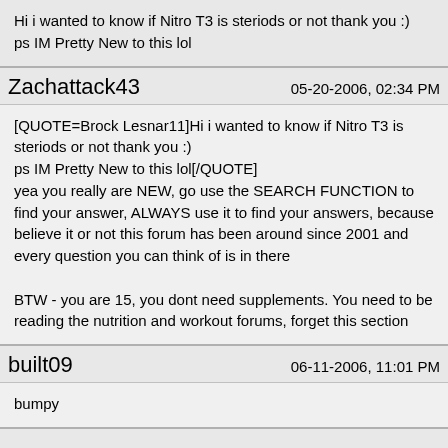Hi i wanted to know if Nitro T3 is steriods or not thank you :)
ps IM Pretty New to this lol
Zachattack43    05-20-2006, 02:34 PM
[QUOTE=Brock Lesnar11]Hi i wanted to know if Nitro T3 is steriods or not thank you :)
ps IM Pretty New to this lol[/QUOTE]
yea you really are NEW, go use the SEARCH FUNCTION to find your answer, ALWAYS use it to find your answers, because believe it or not this forum has been around since 2001 and every question you can think of is in there

BTW - you are 15, you dont need supplements. You need to be reading the nutrition and workout forums, forget this section
built09    06-11-2006, 11:01 PM
bumpy